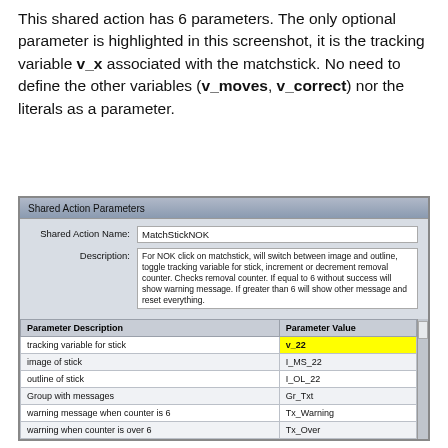This shared action has 6 parameters. The only optional parameter is highlighted in this screenshot, it is the tracking variable v_x associated with the matchstick. No need to define the other variables (v_moves, v_correct) nor the literals as a parameter.
[Figure (screenshot): Screenshot of Shared Action Parameters dialog showing MatchStickNOK action with 6 parameters: tracking variable for stick (v_22, highlighted yellow), image of stick (I_MS_22), outline of stick (I_OL_22), Group with messages (Gr_Txt), warning message when counter is 6 (Tx_Warning), warning when counter is over 6 (Tx_Over).]